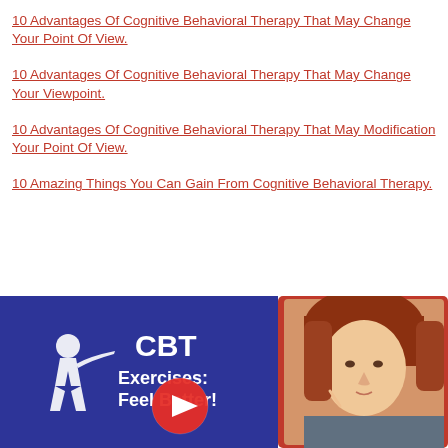10 Advantages Of Cognitive Behavioral Therapy That May Change Your Point Of View.
10 Advantages Of Cognitive Behavioral Therapy That May Change Your Viewpoint.
10 Advantages Of Cognitive Behavioral Therapy That May Modification Your Point Of View.
10 Amazing Things You Can Gain From Cognitive Behavioral Therapy.
[Figure (screenshot): YouTube video thumbnail showing 'CBT Exercises: Feel Better!' with blue background, white silhouette figure, red YouTube play button overlay, and a woman with red hair on the right side with orange/red border.]